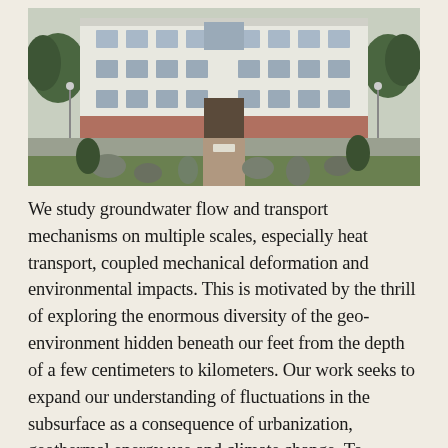[Figure (photo): Aerial/elevated view of a white multi-story academic building with red brick base, surrounded by trees and a courtyard with large rocks/boulders arranged in the foreground green area.]
We study groundwater flow and transport mechanisms on multiple scales, especially heat transport, coupled mechanical deformation and environmental impacts. This is motivated by the thrill of exploring the enormous diversity of the geo-environment hidden beneath our feet from the depth of a few centimeters to kilometers. Our work seeks to expand our understanding of fluctuations in the subsurface as a consequence of urbanization, geothermal energy use and climate change. To achieve this, we link multiple disciplines such as hydrogeology, geophysics, rock mechanics, computational, energy and environmental science